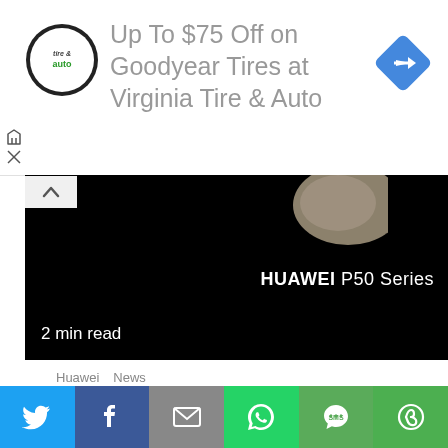[Figure (screenshot): Advertisement banner for Virginia Tire & Auto with logo, text 'Up To $75 Off on Goodyear Tires at Virginia Tire & Auto', and a blue diamond arrow icon]
[Figure (photo): Dark hero image showing Huawei P50 Series phone with 'HUAWEI P50 Series' text and '2 min read' label]
Huawei  News
Here's the First Look at the Huawei P50 Series Camera Design: Yay or Nay?
1 year ago  Vincent
[Figure (photo): Second dark hero image partially visible]
[Figure (screenshot): Social share bar with Twitter, Facebook, Email, WhatsApp, SMS, and More buttons]